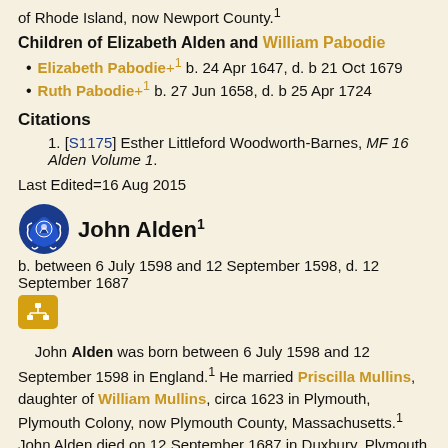of Rhode Island, now Newport County.¹
Children of Elizabeth Alden and William Pabodie
Elizabeth Pabodie+¹ b. 24 Apr 1647, d. b 21 Oct 1679
Ruth Pabodie+¹ b. 27 Jun 1658, d. b 25 Apr 1724
Citations
1. [S1175] Esther Littleford Woodworth-Barnes, MF 16 Alden Volume 1.
Last Edited=16 Aug 2015
John Alden¹
b. between 6 July 1598 and 12 September 1598, d. 12 September 1687
John Alden was born between 6 July 1598 and 12 September 1598 in England.¹ He married Priscilla Mullins, daughter of William Mullins, circa 1623 in Plymouth, Plymouth Colony, now Plymouth County, Massachusetts.¹ John Alden died on 12 September 1687 in Duxbury, Plymouth Colony, now Massachusetts.¹